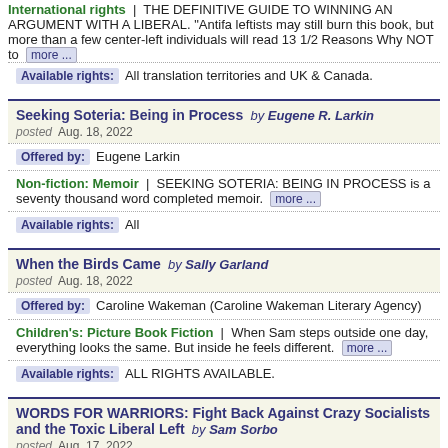International rights | THE DEFINITIVE GUIDE TO WINNING AN ARGUMENT WITH A LIBERAL. "Antifa leftists may still burn this book, but more than a few center-left individuals will read 13 1/2 Reasons Why NOT to more ...
Available rights: All translation territories and UK & Canada.
Seeking Soteria: Being in Process by Eugene R. Larkin
posted Aug. 18, 2022
Offered by: Eugene Larkin
Non-fiction: Memoir | SEEKING SOTERIA: BEING IN PROCESS is a seventy thousand word completed memoir. more ...
Available rights: All
When the Birds Came by Sally Garland
posted Aug. 18, 2022
Offered by: Caroline Wakeman (Caroline Wakeman Literary Agency)
Children's: Picture Book Fiction | When Sam steps outside one day, everything looks the same. But inside he feels different. more ...
Available rights: ALL RIGHTS AVAILABLE.
WORDS FOR WARRIORS: Fight Back Against Crazy Socialists and the Toxic Liberal Left by Sam Sorbo
posted Aug. 17, 2022